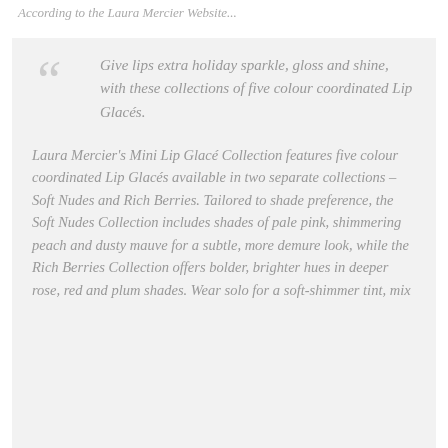According to the Laura Mercier Website...
Give lips extra holiday sparkle, gloss and shine, with these collections of five colour coordinated Lip Glacés.
Laura Mercier's Mini Lip Glacé Collection features five colour coordinated Lip Glacés available in two separate collections – Soft Nudes and Rich Berries. Tailored to shade preference, the Soft Nudes Collection includes shades of pale pink, shimmering peach and dusty mauve for a subtle, more demure look, while the Rich Berries Collection offers bolder, brighter hues in deeper rose, red and plum shades. Wear solo for a soft-shimmer tint, mix